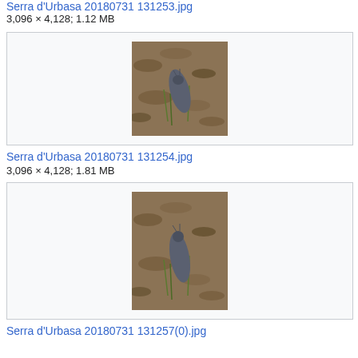Serra d'Urbasa 20180731 131253.jpg
3,096 × 4,128; 1.12 MB
[Figure (photo): Photo of a slug on forest ground with dead leaves and grass, centered in a light gray bordered thumbnail box]
Serra d'Urbasa 20180731 131254.jpg
3,096 × 4,128; 1.81 MB
[Figure (photo): Photo of a slug on forest ground with dead leaves and grass, centered in a light gray bordered thumbnail box]
Serra d'Urbasa 20180731 131257(0).jpg